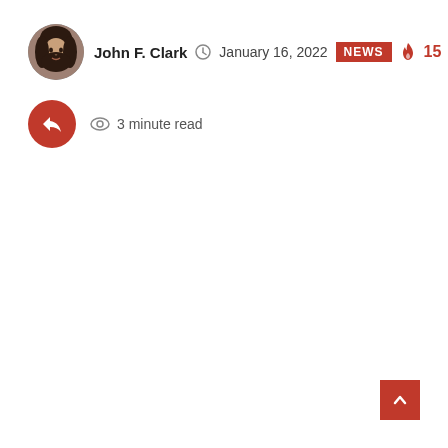[Figure (photo): Circular avatar photo of a person (John F. Clark)]
John F. Clark  January 16, 2022  NEWS  15
[Figure (other): Red circular share/reply button icon]
3 minute read